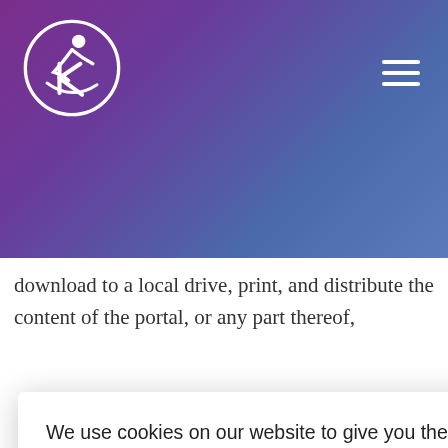[Figure (logo): Circular logo with white stylized human figure and K letter on purple/gradient background]
download to a local drive, print, and distribute the content of the portal, or any part thereof,
We use cookies on our website to give you the most relevant experience by remembering your preferences and repeat visits. By clicking "Accept All", you consent to the use of ALL the cookies. However, you may visit "Cookie Settings" to provide a controlled consent.
Cookie Settings   Accept All
ommercial
t available
thereof,
operty
ghts of third
he
Dykman
nd